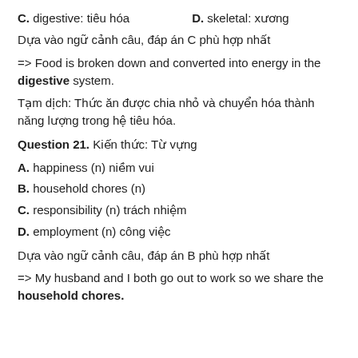C. digestive: tiêu hóa     D. skeletal: xương
Dựa vào ngữ cảnh câu, đáp án C phù hợp nhất
=> Food is broken down and converted into energy in the digestive system.
Tạm dịch: Thức ăn được chia nhỏ và chuyển hóa thành năng lượng trong hệ tiêu hóa.
Question 21. Kiến thức: Từ vựng
A. happiness (n) niềm vui
B. household chores (n)
C. responsibility (n) trách nhiệm
D. employment (n) công việc
Dựa vào ngữ cảnh câu, đáp án B phù hợp nhất
=> My husband and I both go out to work so we share the household chores.